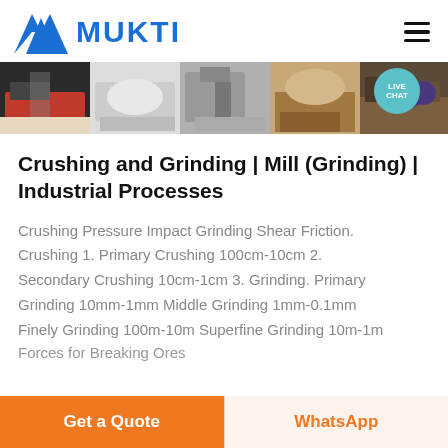[Figure (logo): MUKTI company logo with blue triangle/mountain icon and blue bold text MUKTI]
[Figure (photo): Horizontal banner strip showing multiple industrial crushing and grinding machinery photos]
Crushing and Grinding | Mill (Grinding) | Industrial Processes
Crushing Pressure Impact Grinding Shear Friction. Crushing 1. Primary Crushing 100cm-10cm 2. Secondary Crushing 10cm-1cm 3. Grinding. Primary Grinding 10mm-1mm Middle Grinding 1mm-0.1mm Finely Grinding 100m-10m Superfine Grinding 10m-1m Forces for Breaking Ores
Get a Quote   WhatsApp